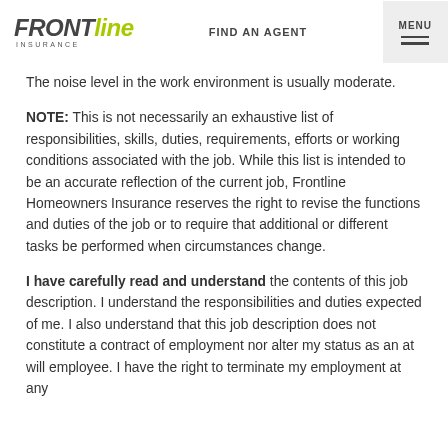FRONTline INSURANCE | FIND AN AGENT | MENU
The noise level in the work environment is usually moderate.
NOTE:  This is not necessarily an exhaustive list of responsibilities, skills, duties, requirements, efforts or working conditions associated with the job.  While this list is intended to be an accurate reflection of the current job, Frontline Homeowners Insurance reserves the right to revise the functions and duties of the job or to require that additional or different tasks be performed when circumstances change.
I have carefully read and understand the contents of this job description.  I understand the responsibilities and duties expected of me.  I also understand that this job description does not constitute a contract of employment nor alter my status as an at will employee.  I have the right to terminate my employment at any